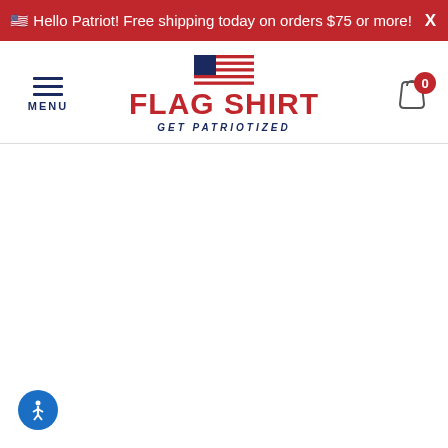🇺🇸 Hello Patriot! Free shipping today on orders $75 or more!
[Figure (logo): Flag Shirt logo with American flag icon, red FLAG SHIRT text, and blue GET PATRIOTIZED tagline]
[Figure (illustration): Accessibility widget button, blue circle with person icon, bottom left corner]